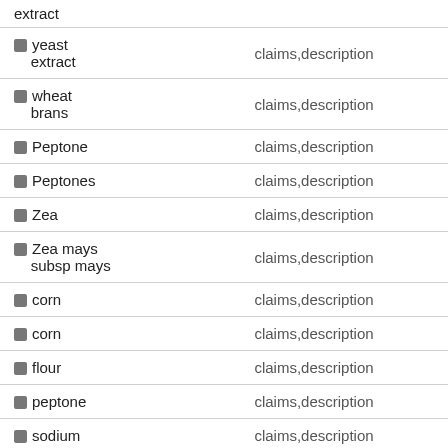| Term | Location |
| --- | --- |
| extract |  |
| ■ yeast extract | claims,description |
| ■ wheat brans | claims,description |
| ■ Peptone | claims,description |
| ■ Peptones | claims,description |
| ■ Zea | claims,description |
| ■ Zea mays subsp mays | claims,description |
| ■ corn | claims,description |
| ■ corn | claims,description |
| ■ flour | claims,description |
| ■ peptone | claims,description |
| ■ sodium | claims,description |